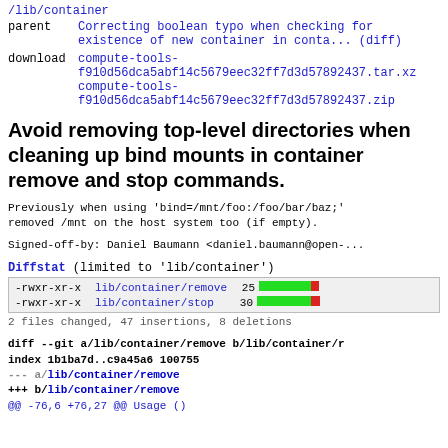/lib/container
parent   Correcting boolean typo when checking for existence of new container in conta... (diff)
download compute-tools-f910d56dca5abf14c5679eec32ff7d3d57892437.tar.xz
compute-tools-f910d56dca5abf14c5679eec32ff7d3d57892437.zip
Avoid removing top-level directories when cleaning up bind mounts in container remove and stop commands.
Previously when using 'bind=/mnt/foo:/foo/bar/baz;'
removed /mnt on the host system too (if empty).
Signed-off-by: Daniel Baumann <daniel.baumann@open-...
Diffstat (limited to 'lib/container')
| permissions | file | changes | bar |
| --- | --- | --- | --- |
| -rwxr-xr-x | lib/container/remove | 25 | bar |
| -rwxr-xr-x | lib/container/stop | 30 | bar |
2 files changed, 47 insertions, 8 deletions
diff --git a/lib/container/remove b/lib/container/r
index 1b1ba7d..c9a45a6 100755
--- a/lib/container/remove
+++ b/lib/container/remove
@@ -76,6 +76,27 @@ Usage ()